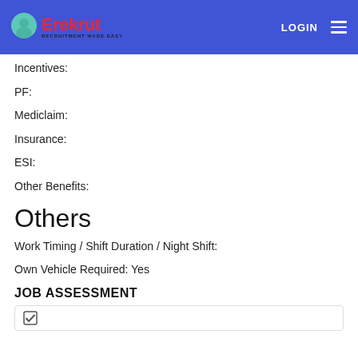Erekrut - RECRUITMENT MADE EASY | LOGIN
Incentives:
PF:
Mediclaim:
Insurance:
ESI:
Other Benefits:
Others
Work Timing / Shift Duration / Night Shift:
Own Vehicle Required: Yes
JOB ASSESSMENT